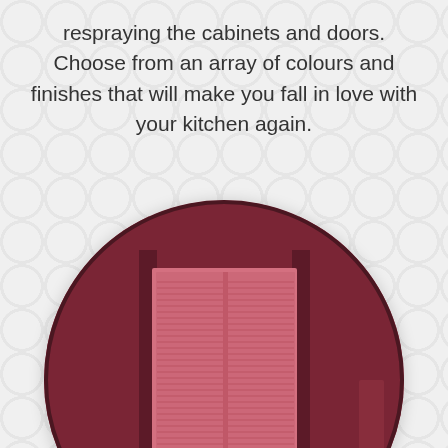respraying the cabinets and doors. Choose from an array of colours and finishes that will make you fall in love with your kitchen again.
[Figure (photo): Circular cropped photo showing two pink/rose-coloured louvred cabinet doors set against a dark burgundy-red wall background, with a partial view of a white chair at the bottom left.]